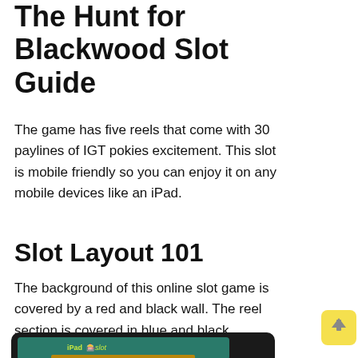The Hunt for Blackwood Slot Guide
The game has five reels that come with 30 paylines of IGT pokies excitement. This slot is mobile friendly so you can enjoy it on any mobile devices like an iPad.
Slot Layout 101
The background of this online slot game is covered by a red and black wall. The reel section is covered in blue and black colours.
[Figure (screenshot): Screenshot of the Hunt for Blackwood / Sherlock Holmes slot game on a tablet device showing slot reels with character symbols and a red joystick knob.]